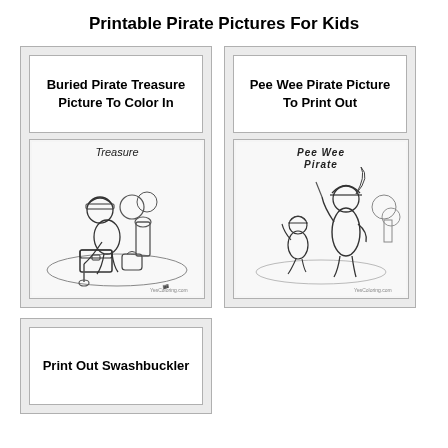Printable Pirate Pictures For Kids
[Figure (illustration): Card showing coloring page titled 'Buried Pirate Treasure Picture To Color In' with a pirate digging up treasure chest illustration]
[Figure (illustration): Card showing coloring page titled 'Pee Wee Pirate Picture To Print Out' with a tall pirate and small pirate illustration]
[Figure (illustration): Card showing 'Print Out Swashbuckler' title box]